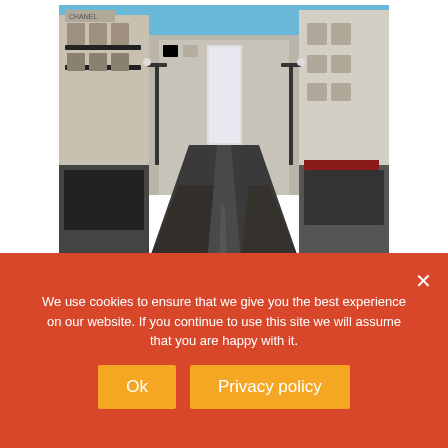[Figure (photo): A street-level photo looking north from the bottom of New Bond Street, London. The pedestrianized street is empty, flanked by tall classical stone buildings including a Chanel store on the left. Blue sky visible above.]
Looking north from the bottom of New Bond Street
We use cookies to ensure that we give you the best experience on our website. If you continue to use this site we will assume that you are happy with it.